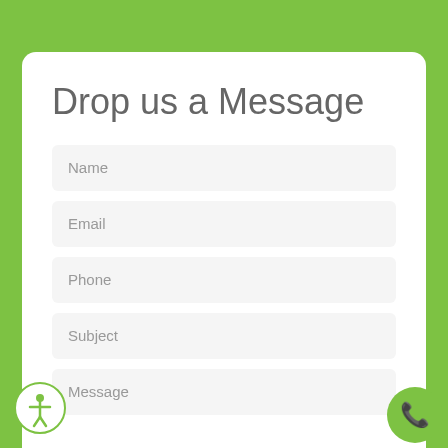Drop us a Message
Name
Email
Phone
Subject
Message